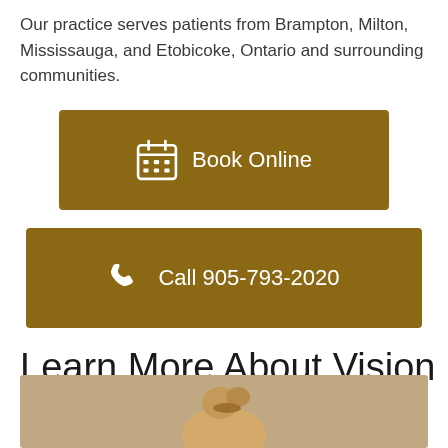Our practice serves patients from Brampton, Milton, Mississauga, and Etobicoke, Ontario and surrounding communities.
[Figure (other): Brown button with calendar icon and text 'Book Online']
[Figure (other): Brown button with phone icon and text 'Call 905-793-2020']
Learn More About Vision Therapy
[Figure (photo): Photo of a child viewed from behind, hair in a bun, against a beige/tan background]